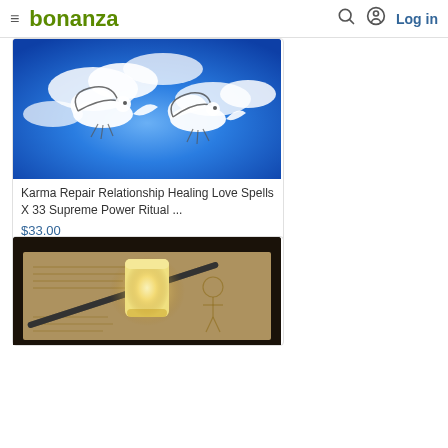bonanza  Log in
[Figure (photo): Product image: two white doves flying against a bright blue sky with clouds, stylized illustration]
Karma Repair Relationship Healing Love Spells X 33 Supreme Power Ritual ...
$33.00
[Figure (photo): Product image: a glowing yellow LED candle sitting on an open book with a wand, dark background]